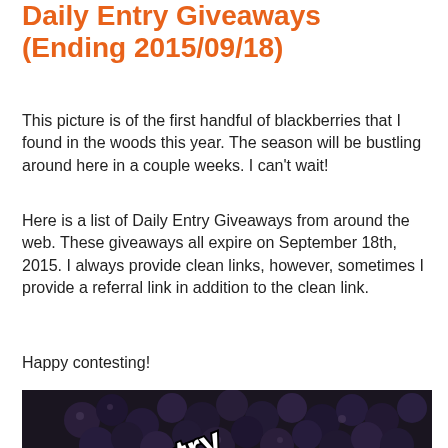Daily Entry Giveaways (Ending 2015/09/18)
This picture is of the first handful of blackberries that I found in the woods this year. The season will be bustling around here in a couple weeks. I can't wait!
Here is a list of Daily Entry Giveaways from around the web. These giveaways all expire on September 18th, 2015. I always provide clean links, however, sometimes I provide a referral link in addition to the clean link.
Happy contesting!
[Figure (photo): Photo of blackberries with text overlay reading 'Daily Entry' and 'aus' (partial), styled in white with black outline on a dark background of blackberries]